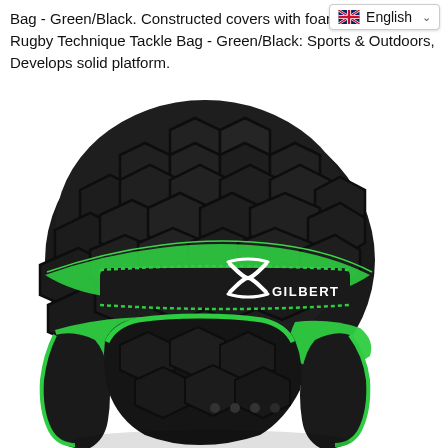Bag - Green/Black. Constructed covers with foam inners, Gilbert Rugby Technique Tackle Bag - Green/Black: Sports & Outdoors, Develops solid platform.
[Figure (photo): Gilbert rugby headguard/helmet in black with green trim and Gilbert logo, shown on white background]